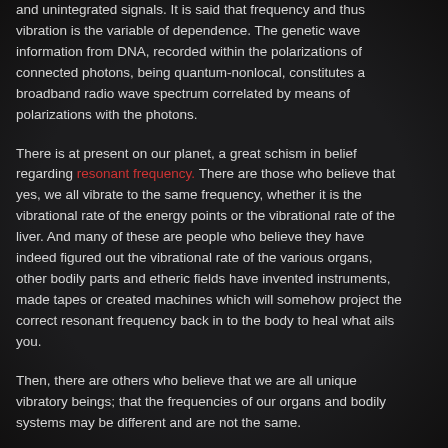and unintegrated signals. It is said that frequency and thus vibration is the variable of dependence. The genetic wave information from DNA, recorded within the polarizations of connected photons, being quantum-nonlocal, constitutes a broadband radio wave spectrum correlated by means of polarizations with the photons.
There is at present on our planet, a great schism in belief regarding resonant frequency. There are those who believe that yes, we all vibrate to the same frequency, whether it is the vibrational rate of the energy points or the vibrational rate of the liver. And many of these are people who believe they have indeed figured out the vibrational rate of the various organs, other bodily parts and etheric fields have invented instruments, made tapes or created machines which will somehow project the correct resonant frequency back in to the body to heal what ails you.
Then, there are others who believe that we are all unique vibratory beings; that the frequencies of our organs and bodily systems may be different and are not the same.